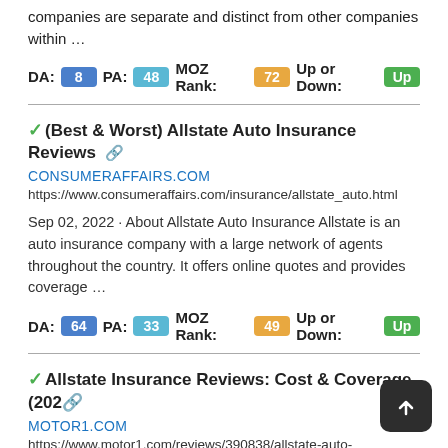companies are separate and distinct from other companies within …
DA: 8  PA: 48  MOZ Rank: 72  Up or Down: Up
✓(Best & Worst) Allstate Auto Insurance Reviews 🔗
CONSUMERAFFAIRS.COM
https://www.consumeraffairs.com/insurance/allstate_auto.html
Sep 02, 2022 · About Allstate Auto Insurance Allstate is an auto insurance company with a large network of agents throughout the country. It offers online quotes and provides coverage …
DA: 64  PA: 33  MOZ Rank: 49  Up or Down: Up
✓Allstate Insurance Reviews: Cost & Coverage (2022🔗
MOTOR1.COM
https://www.motor1.com/reviews/390838/allstate-auto-insurance/